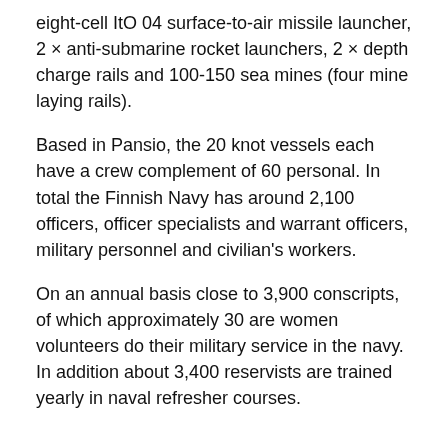eight-cell ItO 04 surface-to-air missile launcher, 2 × anti-submarine rocket launchers, 2 × depth charge rails and 100-150 sea mines (four mine laying rails).
Based in Pansio, the 20 knot vessels each have a crew complement of 60 personal. In total the Finnish Navy has around 2,100 officers, officer specialists and warrant officers, military personnel and civilian's workers.
On an annual basis close to 3,900 conscripts, of which approximately 30 are women volunteers do their military service in the navy. In addition about 3,400 reservists are trained yearly in naval refresher courses.
Tagged under  #Cork Harbour  #port of Cork  #Baltic Sea  #Cork Harbour News  #Port of Cork News  #Finnish Navy  #FNS Hameenmaa  #Finnyards  #North Customo House Quay  #Ice conditions  #Minelayer  #Stealth Technology